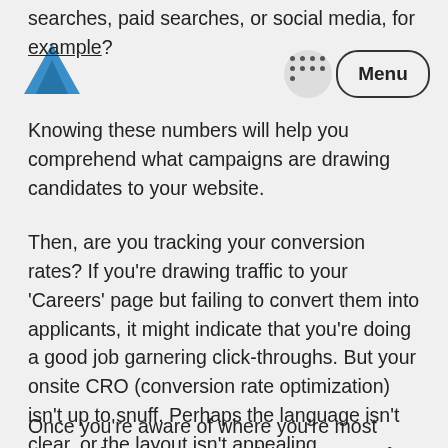Logo and navigation menu
searches, paid searches, or social media, for example? Knowing these numbers will help you comprehend what campaigns are drawing candidates to your website.
Then, are you tracking your conversion rates? If you're drawing traffic to your 'Careers' page but failing to convert them into applicants, it might indicate that you're doing a good job garnering click-throughs. But your onsite CRO (conversion rate optimization) isn't up to snuff. Perhaps the language isn't clear, or the layout isn't appealing.
Once you're aware of where you're most successful and unsuccessful, it becomes far easier to establish